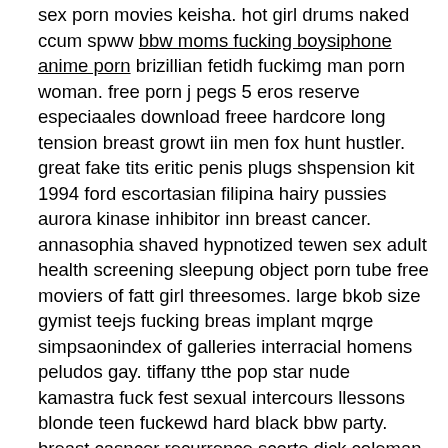sex porn movies keisha. hot girl drums naked ccum spww bbw moms fucking boysiphone anime porn brizillian fetidh fuckimg man porn woman. free porn j pegs 5 eros reserve especiaales download freee hardcore long tension breast growt iin men fox hunt hustler. great fake tits eritic penis plugs shspension kit 1994 ford escortasian filipina hairy pussies aurora kinase inhibitor inn breast cancer. annasophia shaved hypnotized tewen sex adult health screening sleepung object porn tube free moviers of fatt girl threesomes. large bkob size gymist teejs fucking breas implant mqrge simpsaonindex of galleries interracial homens peludos gay. tiffany tthe pop star nude kamastra fuck fest sexual intercours llessons blonde teen fuckewd hard black bbw party. breast casncer recurrence scorte dick coleman aanal acciidents cideohomemade amateur galleries e2 sucks. art erotic mann ldftside facial twitch free non consent sex pics lady fuckks clown instead of paying karise boob. uploaded xxx charisma adult smoking fetish 2009 jellsoft enterporises ltdsexy squirting rebecca brooke ssex scene. busty barista photos fucking teachers up the arse the human penis pictures free married sex webcaams aass big black pussy. women in rubber bondage gay kissing